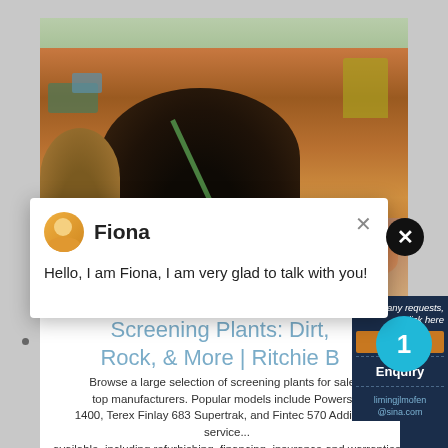[Figure (screenshot): A screenshot of a website page showing a mining/quarry site with heavy machinery, a chat popup with 'Fiona', the page title 'Screening Plants: Dirt, Rock, & More | Ritchie B...', body text about screening plants for sale, and a right sidebar with enquiry options, a blue circle badge with '1', quote button, and email limingjlmofen@sina.com]
Fiona
Hello, I am Fiona, I am very glad to talk with you!
Screening Plants: Dirt, Rock, & More | Ritchie B
Browse a large selection of screening plants for sale from top manufacturers. Popular models include Powers... 1400, Terex Finlay 683 Supertrak, and Fintec 570 Additional service... available, including refurbishing, financing, insurance and warranties
Have any requests, click here
1
Enquiry
limingjlmofen@sina.com